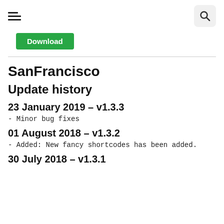Navigation header with hamburger menu and search button
Download
SanFrancisco
Update history
23 January 2019 – v1.3.3
- Minor bug fixes
01 August 2018 – v1.3.2
- Added: New fancy shortcodes has been added.
30 July 2018 – v1.3.1